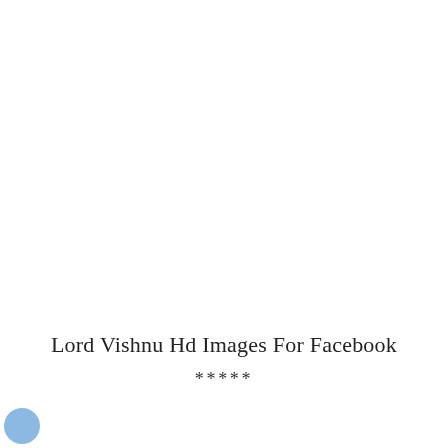Lord Vishnu Hd Images For Facebook
*****